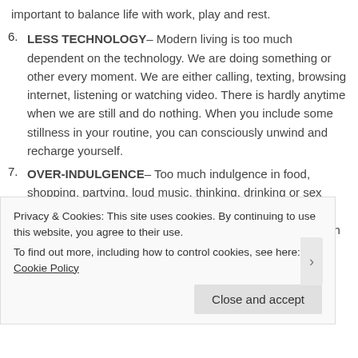important to balance life with work, play and rest.
6. LESS TECHNOLOGY– Modern living is too much dependent on the technology. We are doing something or other every moment. We are either calling, texting, browsing internet, listening or watching video. There is hardly anytime when we are still and do nothing. When you include some stillness in your routine, you can consciously unwind and recharge yourself.
7. OVER-INDULGENCE– Too much indulgence in food, shopping, partying, loud music, thinking, drinking or sex drains your energy and vitality. To live a happy healthy life, we need to create a balance and engage in activities which will uplift
Privacy & Cookies: This site uses cookies. By continuing to use this website, you agree to their use.
To find out more, including how to control cookies, see here: Cookie Policy
Close and accept